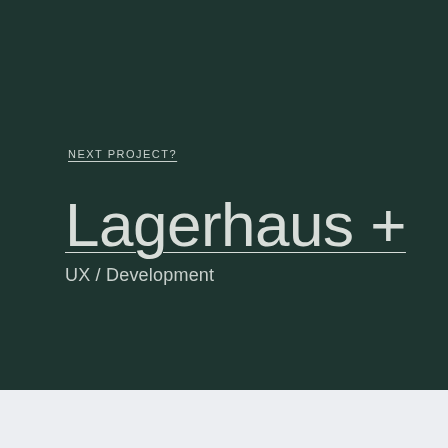NEXT PROJECT?
Lagerhaus +
UX / Development